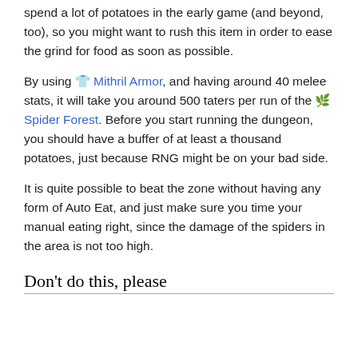spend a lot of potatoes in the early game (and beyond, too), so you might want to rush this item in order to ease the grind for food as soon as possible.
By using 👕 Mithril Armor, and having around 40 melee stats, it will take you around 500 taters per run of the 🌿 Spider Forest. Before you start running the dungeon, you should have a buffer of at least a thousand potatoes, just because RNG might be on your bad side.
It is quite possible to beat the zone without having any form of Auto Eat, and just make sure you time your manual eating right, since the damage of the spiders in the area is not too high.
Don't do this, please